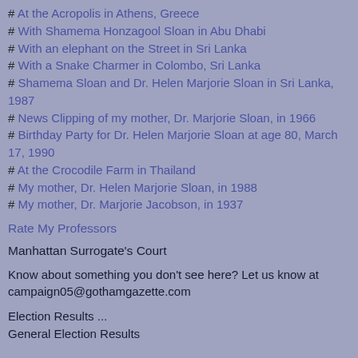# At the Acropolis in Athens, Greece
# With Shamema Honzagool Sloan in Abu Dhabi
# With an elephant on the Street in Sri Lanka
# With a Snake Charmer in Colombo, Sri Lanka
# Shamema Sloan and Dr. Helen Marjorie Sloan in Sri Lanka, 1987
# News Clipping of my mother, Dr. Marjorie Sloan, in 1966
# Birthday Party for Dr. Helen Marjorie Sloan at age 80, March 17, 1990
# At the Crocodile Farm in Thailand
# My mother, Dr. Helen Marjorie Sloan, in 1988
# My mother, Dr. Marjorie Jacobson, in 1937
Rate My Professors
Manhattan Surrogate's Court
Know about something you don't see here? Let us know at campaign05@gothamgazette.com
Election Results ...
General Election Results